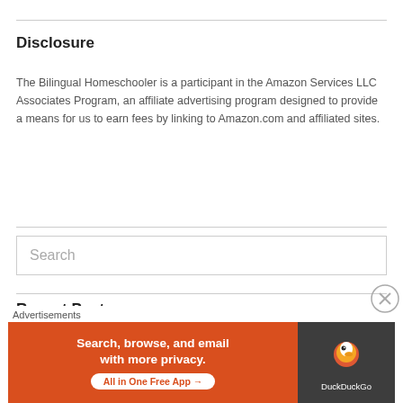Disclosure
The Bilingual Homeschooler is a participant in the Amazon Services LLC Associates Program, an affiliate advertising program designed to provide a means for us to earn fees by linking to Amazon.com and affiliated sites.
Search
Recent Posts
[Figure (screenshot): DuckDuckGo advertisement banner: 'Search, browse, and email with more privacy. All in One Free App' with DuckDuckGo logo on dark background]